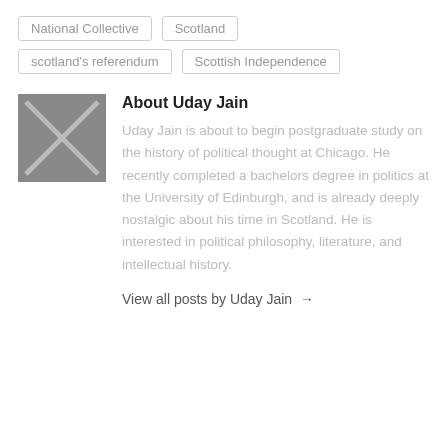National Collective
Scotland
scotland's referendum
Scottish Independence
[Figure (illustration): Placeholder avatar image: grey square with an X drawn from corner to corner]
About Uday Jain
Uday Jain is about to begin postgraduate study on the history of political thought at Chicago. He recently completed a bachelors degree in politics at the University of Edinburgh, and is already deeply nostalgic about his time in Scotland. He is interested in political philosophy, literature, and intellectual history.
View all posts by Uday Jain →